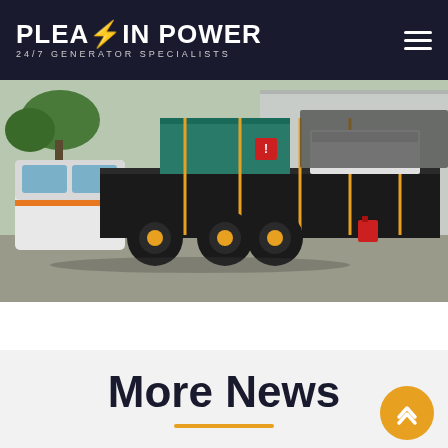PLEAVIN POWER | 24/7 GENERATOR SPECIALISTS
[Figure (photo): A heavy-duty flatbed truck loaded with generators and equipment, strapped down with orange ratchet straps, parked at an industrial site.]
More News